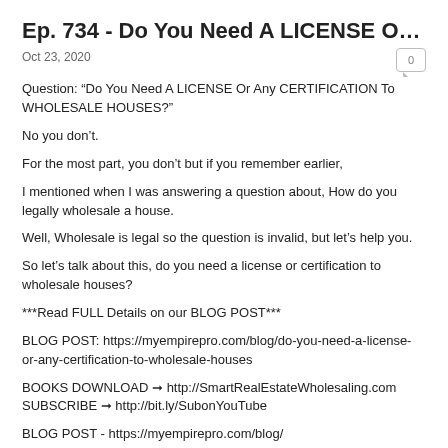Ep. 734 - Do You Need A LICENSE Or Any C...
Oct 23, 2020
Question: “Do You Need A LICENSE Or Any CERTIFICATION To WHOLESALE HOUSES?”
No you don’t.
For the most part, you don’t but if you remember earlier,
I mentioned when I was answering a question about, How do you legally wholesale a house.
Well, Wholesale is legal so the question is invalid, but let’s help you.
So let’s talk about this, do you need a license or certification to wholesale houses?
***Read FULL Details on our BLOG POST***
BLOG POST: https://myempirepro.com/blog/do-you-need-a-license-or-any-certification-to-wholesale-houses
BOOKS DOWNLOAD ➞ http://SmartRealEstateWholesaling.com
SUBSCRIBE ➞ http://bit.ly/SubonYouTube
BLOG POST - https://myempirepro.com/blog/